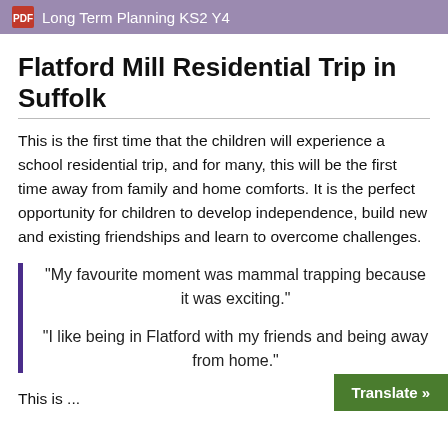Long Term Planning KS2 Y4
Flatford Mill Residential Trip in Suffolk
This is the first time that the children will experience a school residential trip, and for many, this will be the first time away from family and home comforts. It is the perfect opportunity for children to develop independence, build new and existing friendships and learn to overcome challenges.
“My favourite moment was mammal trapping because it was exciting.”
“I like being in Flatford with my friends and being away from home.”
This is...